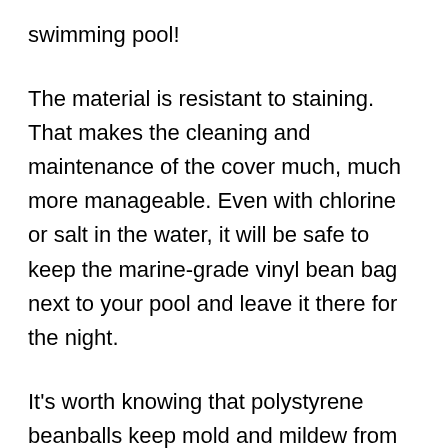swimming pool!
The material is resistant to staining. That makes the cleaning and maintenance of the cover much, much more manageable. Even with chlorine or salt in the water, it will be safe to keep the marine-grade vinyl bean bag next to your pool and leave it there for the night.
It's worth knowing that polystyrene beanballs keep mold and mildew from building upon them. Most marine-grade vinyl bean bags come already filled with them. If you are looking for a polyester bean bag cover specifically to have around your swimming pool or on a boat, then that would be an excellent choice for filling...